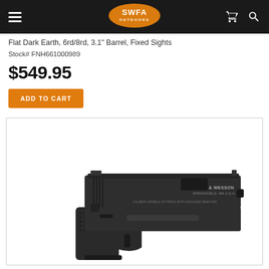SWFA Outdoors
Flat Dark Earth, 6rd/8rd, 3.1" Barrel, Fixed Sights
Stock# FNH661000989
$549.95
ADD TO CART
[Figure (photo): Smith & Wesson semi-automatic pistol in black, side profile view showing the slide with 'SMITH & WESSON SPRINGFIELD, MA U.S.A.' markings, textured grip, and fixed sights.]